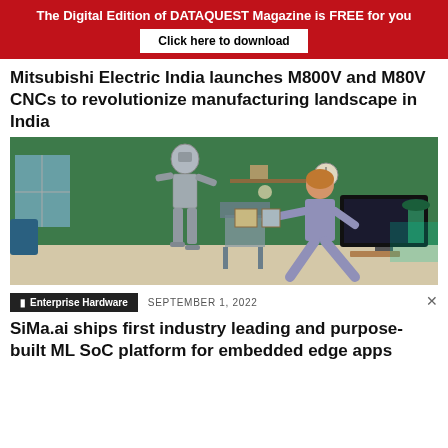The Digital Edition of DATAQUEST Magazine is FREE for you
Click here to download
Mitsubishi Electric India launches M800V and M80V CNCs to revolutionize manufacturing landscape in India
[Figure (photo): A humanoid robot standing in a living room facing a woman who is leaning forward with her hand extended toward the robot. The room has green walls, a chair, shelves with items, and a TV in the background.]
Enterprise Hardware   SEPTEMBER 1, 2022
SiMa.ai ships first industry leading and purpose-built ML SoC platform for embedded edge apps